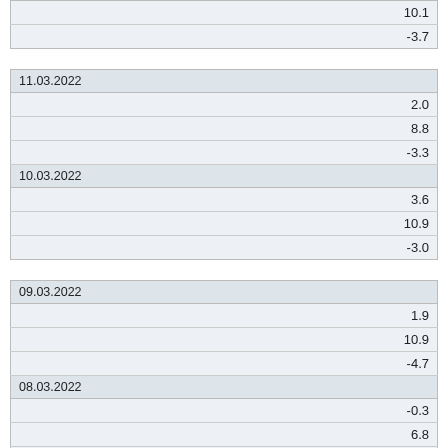| 10.1 |
| -3.7 |
| 11.03.2022 |
| --- |
| 2.0 |
| 8.8 |
| -3.3 |
| 10.03.2022 |
| 3.6 |
| 10.9 |
| -3.0 |
| 09.03.2022 |
| --- |
| 1.9 |
| 10.9 |
| -4.7 |
| 08.03.2022 |
| -0.3 |
| 6.8 |
| -5.8 |